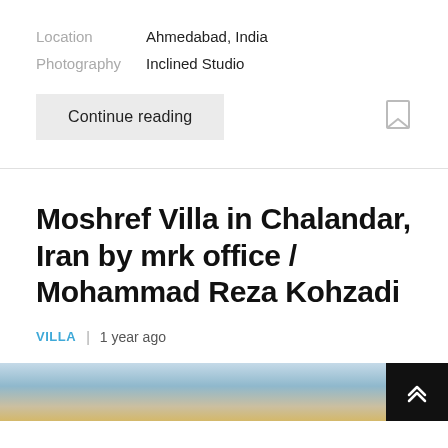Location   Ahmedabad, India
Photography   Inclined Studio
Continue reading
Moshref Villa in Chalandar, Iran by mrk office / Mohammad Reza Kohzadi
VILLA  |  1 year ago
[Figure (photo): Partial view of a building exterior with blue sky, partially visible at the bottom of the page]